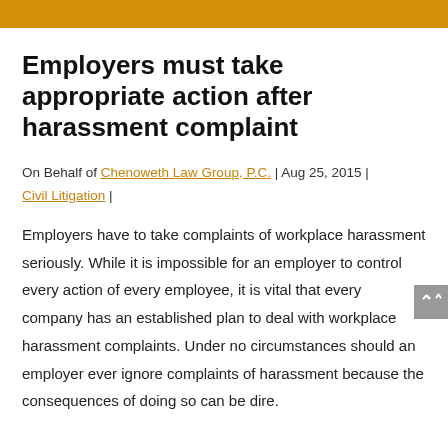Employers must take appropriate action after harassment complaint
On Behalf of Chenoweth Law Group, P.C. | Aug 25, 2015 | Civil Litigation |
Employers have to take complaints of workplace harassment seriously. While it is impossible for an employer to control every action of every employee, it is vital that every company has an established plan to deal with workplace harassment complaints. Under no circumstances should an employer ever ignore complaints of harassment because the consequences of doing so can be dire.